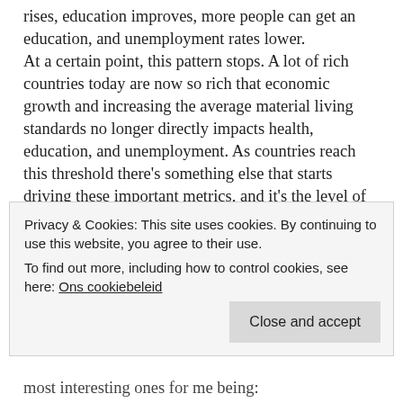rises, education improves, more people can get an education, and unemployment rates lower.
At a certain point, this pattern stops. A lot of rich countries today are now so rich that economic growth and increasing the average material living standards no longer directly impacts health, education, and unemployment. As countries reach this threshold there's something else that starts driving these important metrics, and it's the level of equality among their citizens.
More equality is better for everyone. It doesn't matter if you're talking about a country, a state, a city, or a company. When inequality among citizens of a country lowers, the
Privacy & Cookies: This site uses cookies. By continuing to use this website, you agree to their use.
To find out more, including how to control cookies, see here: Ons cookiebeleid
most interesting ones for me being: